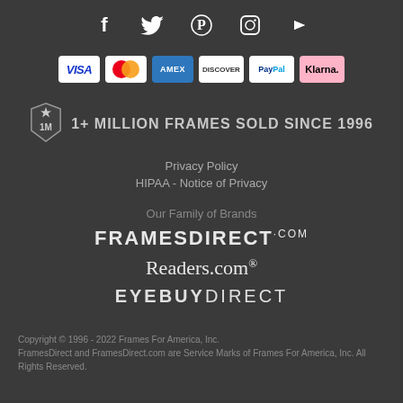[Figure (illustration): Row of social media icons: Facebook, Twitter, Pinterest, Instagram, YouTube]
[Figure (illustration): Row of payment method logos: Visa, Mastercard, Amex, Discover, PayPal, Klarna]
[Figure (illustration): Badge icon with star and '1M' text]
1+ MILLION FRAMES SOLD SINCE 1996
Privacy Policy
HIPAA - Notice of Privacy
Our Family of Brands
FRAMESDIRECT.COM
Readers.com®
EYEBUYDIRECT
Copyright © 1996 - 2022 Frames For America, Inc. FramesDirect and FramesDirect.com are Service Marks of Frames For America, Inc. All Rights Reserved.